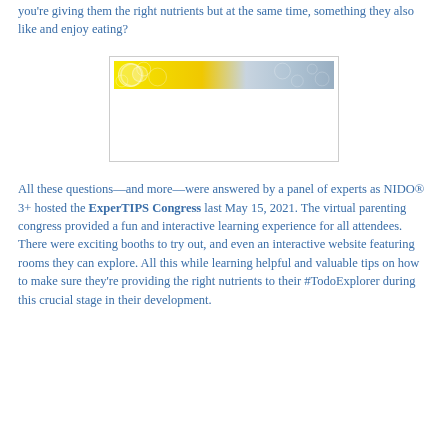you're giving them the right nutrients but at the same time, something they also like and enjoy eating?
[Figure (photo): A decorative banner image with yellow and light blue/grey tones, partially visible, with white circular swirl patterns. Below the banner is a white empty space, all contained in a light-bordered box.]
All these questions—and more—were answered by a panel of experts as NIDO® 3+ hosted the ExperTIPS Congress last May 15, 2021. The virtual parenting congress provided a fun and interactive learning experience for all attendees. There were exciting booths to try out, and even an interactive website featuring rooms they can explore. All this while learning helpful and valuable tips on how to make sure they're providing the right nutrients to their #TodoExplorer during this crucial stage in their development.